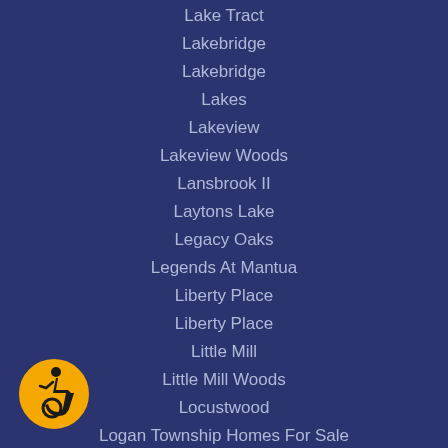Lake Tract
Lakebridge
Lakebridge
Lakes
Lakeview
Lakeview Woods
Lansbrook II
Laytons Lake
Legacy Oaks
Legends At Mantua
Liberty Place
Liberty Place
Little Mill
Little Mill Woods
Locustwood
Logan Township Homes For Sale
[Figure (logo): Accessibility icon: yellow circle with wheelchair user symbol in black]